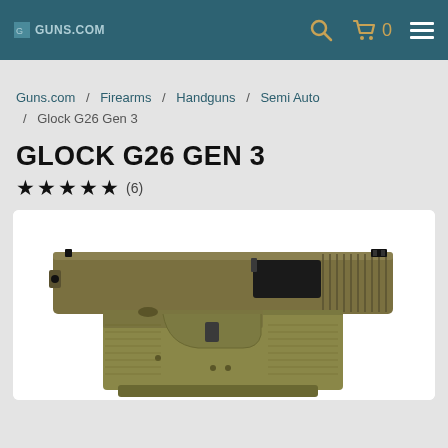Guns.com — navigation header with search, cart (0), and menu
Guns.com / Firearms / Handguns / Semi Auto / Glock G26 Gen 3
GLOCK G26 GEN 3
★★★★★ (6)
[Figure (photo): Side-profile photo of a Glock G26 Gen 3 pistol in flat dark earth (FDE/tan) color with black slide serrations and sights, displayed on a white background.]